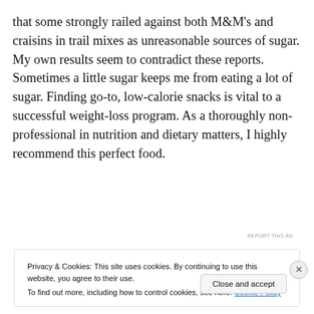that some strongly railed against both M&M's and craisins in trail mixes as unreasonable sources of sugar. My own results seem to contradict these reports. Sometimes a little sugar keeps me from eating a lot of sugar. Finding go-to, low-calorie snacks is vital to a successful weight-loss program. As a thoroughly non-professional in nutrition and dietary matters, I highly recommend this perfect food.
[Figure (other): WordPress advertisement banner with text 'Need a website quickly and on a budget?' and WordPress logo]
REPORT THIS AD
Privacy & Cookies: This site uses cookies. By continuing to use this website, you agree to their use.
To find out more, including how to control cookies, see here: Cookie Policy
Close and accept